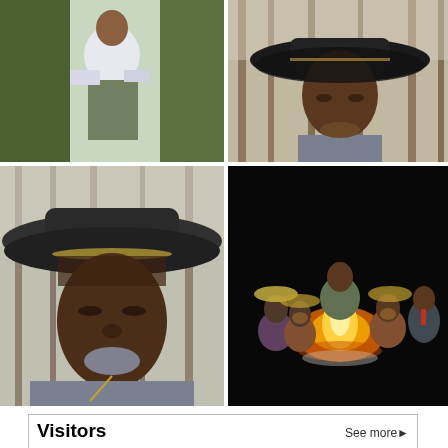[Figure (photo): Man in white shirt holding papers, standing outdoors among greenery]
[Figure (photo): Close-up of man wearing a wide-brim black cowboy hat, looking down, outdoors with bare trees]
[Figure (photo): Large close-up of man wearing a wide-brim dark cowboy hat, outdoors with bare trees in background]
[Figure (photo): Group of people sitting around a campfire at night, dark background]
| Flag | Country | Count | Flag | Country | Count | Flag | Country | Count |
| --- | --- | --- | --- | --- | --- | --- | --- | --- |
| US flag | US | 53,918 | VN flag | VN | 160 | BE flag | BE | 63 |
| CA flag | CA | 2,077 | NL flag | NL | 128 | PL flag | PL | 63 |
| GB flag | GB | 1,423 | CH flag | CH | 120 | TH flag | TH | 62 |
| ZW flag | ZW | 960 | NZ flag | NZ | 108 | NO flag | NO | 60 |